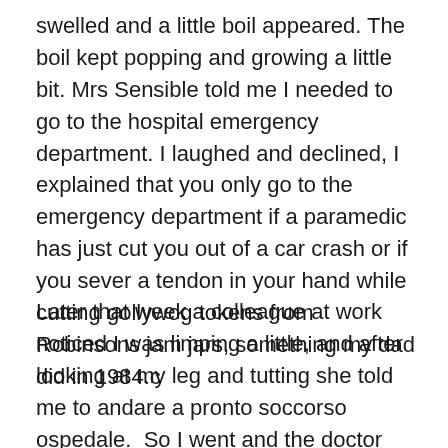swelled and a little boil appeared. The boil kept popping and growing a little bit. Mrs Sensible told me I needed to go to the hospital emergency department. I laughed and declined, I explained that you only go to the emergency department if a paramedic has just cut you out of a car crash or if you sever a tendon in your hand while cutting gollywog tokens from Robinsons jam jars, something my dad did in 1984.c
Later that week a colleague at work noticed I was limping a little, and after looking at my leg and tutting she told me to andare a pronto soccorso ospedale.  So I went and the doctor and nurse who saw me did not mutter about time-wasting but quickly and efficiently cleaned my leg they then took numerous blood samples, gave me a course of antibiotics and told me to return to the emergency department the following day!!!